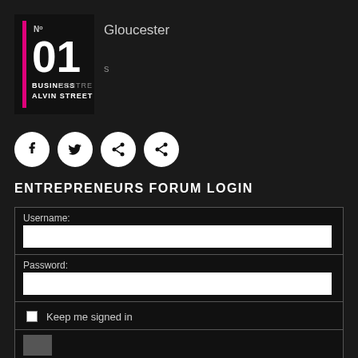[Figure (logo): No. 01 Business Centre Alvin Street logo with pink vertical bar on left side, white text on black background]
Gloucester
s
[Figure (other): Four circular social media sharing icons: Facebook, Twitter, and two share icons, white circles with dark symbols]
ENTREPRENEURS FORUM LOGIN
Username:
Password:
Keep me signed in